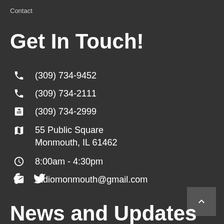Contact
Get In Touch!
(309) 734-9452
(309) 734-2111
(309) 734-2999
55 Public Square Monmouth, IL 61462
8:00am - 4:30pm
radiomonmouth@gmail.com
News and Updates